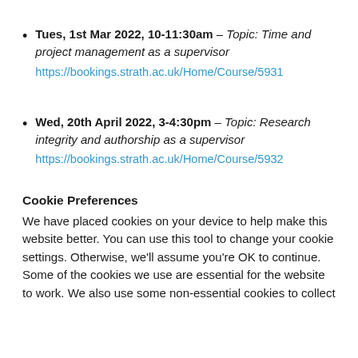Tues, 1st Mar 2022, 10-11:30am – Topic: Time and project management as a supervisor
https://bookings.strath.ac.uk/Home/Course/5931
Wed, 20th April 2022, 3-4:30pm – Topic: Research integrity and authorship as a supervisor
https://bookings.strath.ac.uk/Home/Course/5932
Cookie Preferences
We have placed cookies on your device to help make this website better. You can use this tool to change your cookie settings. Otherwise, we'll assume you're OK to continue. Some of the cookies we use are essential for the website to work. We also use some non-essential cookies to collect